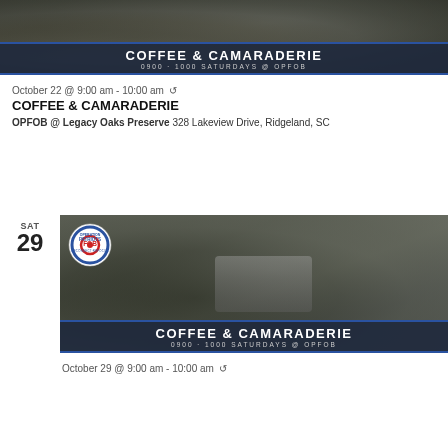[Figure (photo): Photo of military hands holding a metal cup with Coffee & Camaraderie banner overlay (top partial event, October 22)]
October 22 @ 9:00 am - 10:00 am ↺
COFFEE & CAMARADERIE
OPFOB @ Legacy Oaks Preserve 328 Lakeview Drive, Ridgeland, SC
[Figure (photo): Photo of military gloved hand and another hand holding a metal cup with Patriots FOB logo and Coffee & Camaraderie banner overlay (October 29 event)]
October 29 @ 9:00 am - 10:00 am ↺